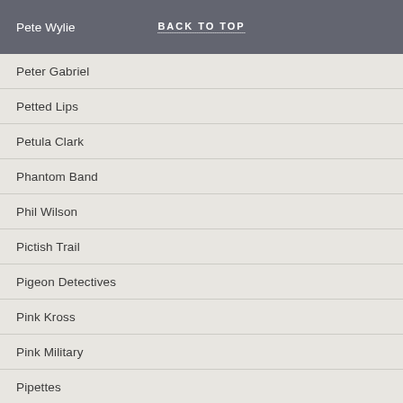Pete Wylie | BACK TO TOP
Peter Gabriel
Petted Lips
Petula Clark
Phantom Band
Phil Wilson
Pictish Trail
Pigeon Detectives
Pink Kross
Pink Military
Pipettes
Pixies
Pizzicato Five